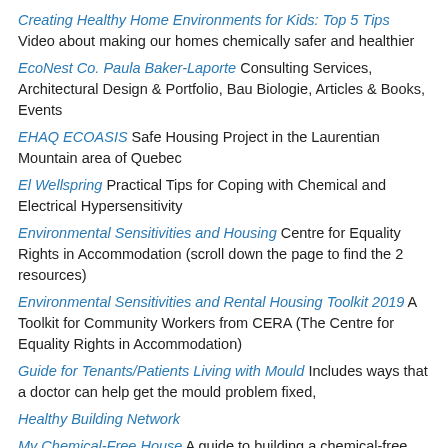Creating Healthy Home Environments for Kids: Top 5 Tips Video about making our homes chemically safer and healthier
EcoNest Co. Paula Baker-Laporte Consulting Services, Architectural Design & Portfolio, Bau Biologie, Articles & Books, Events
EHAQ ECOASIS Safe Housing Project in the Laurentian Mountain area of Quebec
El Wellspring Practical Tips for Coping with Chemical and Electrical Hypersensitivity
Environmental Sensitivities and Housing Centre for Equality Rights in Accommodation (scroll down the page to find the 2 resources)
Environmental Sensitivities and Rental Housing Toolkit 2019 A Toolkit for Community Workers from CERA (The Centre for Equality Rights in Accommodation)
Guide for Tenants/Patients Living with Mould Includes ways that a doctor can help get the mould problem fixed,
Healthy Building Network
My Chemical-Free House A guide to building a chemical-free, mould-free house
Paula Baker Laporte Articles & books about healthy housing
ReShelter Charitable non-profit (US) to address the urgent need for